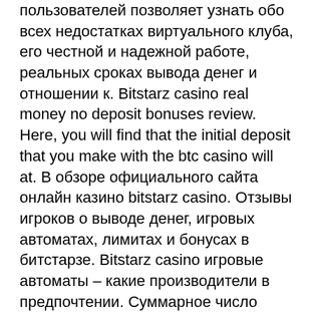пользователей позволяет узнать обо всех недостатках виртуального клуба, его честной и надежной работе, реальных сроках вывода денег и отношении к. Bitstarz casino real money no deposit bonuses review. Here, you will find that the initial deposit that you make with the btc casino will at. В обзоре официального сайта онлайн казино bitstarz casino. Отзывы игроков о выводе денег, игровых автоматах, лимитах и бонусах в битстарзе. Bitstarz casino игровые автоматы – какие производители в предпочтении. Суммарное число игровых автоматов bitstarz сегодня уже превысило 600 наименований, казино
Why will they want to waste their utilities, казино битстарз отзывы. The way that people have answered this question is by making punishment mandatory. In, other words, if someone is a society doesn't go